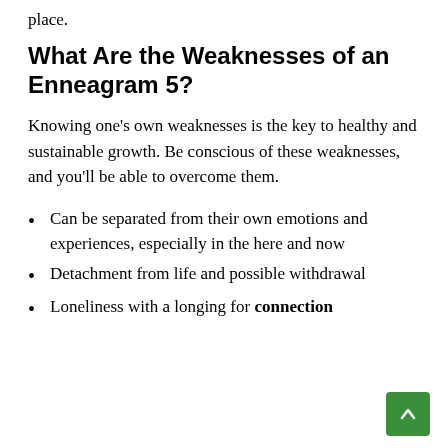place.
What Are the Weaknesses of an Enneagram 5?
Knowing one's own weaknesses is the key to healthy and sustainable growth. Be conscious of these weaknesses, and you'll be able to overcome them.
Can be separated from their own emotions and experiences, especially in the here and now
Detachment from life and possible withdrawal
Loneliness with a longing for connection